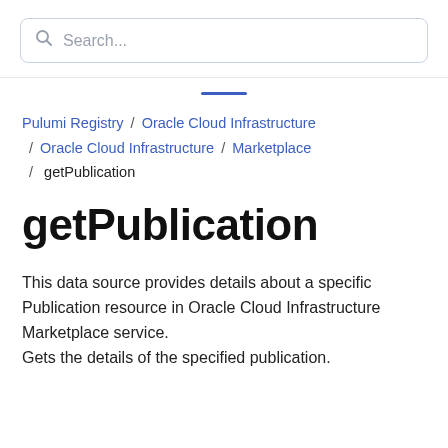[Figure (screenshot): Search input box with magnifying glass icon and placeholder text 'Search...']
Pulumi Registry / Oracle Cloud Infrastructure / Oracle Cloud Infrastructure / Marketplace / getPublication
getPublication
This data source provides details about a specific Publication resource in Oracle Cloud Infrastructure Marketplace service.
Gets the details of the specified publication.